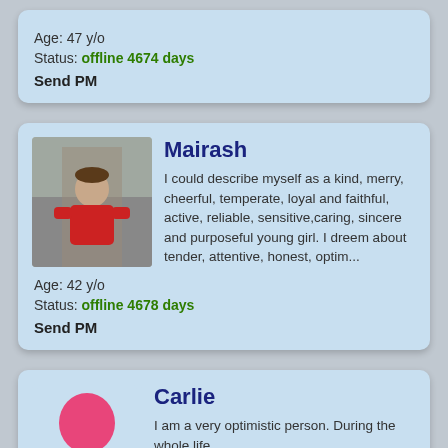Age: 47 y/o
Status: offline 4674 days
Send PM
Mairash
I could describe myself as a kind, merry, cheerful, temperate, loyal and faithful, active, reliable, sensitive,caring, sincere and purposeful young girl. I dreem about tender, attentive, honest, optim...
Age: 42 y/o
Status: offline 4678 days
Send PM
Carlie
I am a very optimistic person. During the whole life